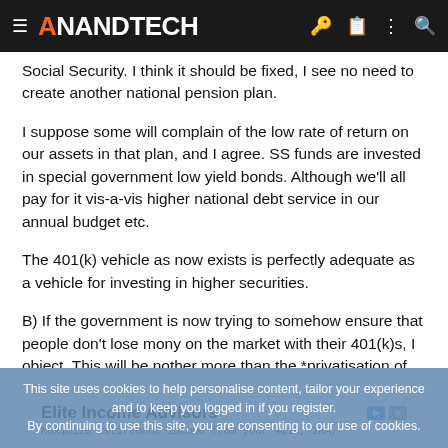AnandTech
Social Security. I think it should be fixed, I see no need to create another national pension plan.
I suppose some will complain of the low rate of return on our assets in that plan, and I agree. SS funds are invested in special government low yield bonds. Although we'll all pay for it vis-a-vis higher national debt service in our annual budget etc.
The 401(k) vehicle as now exists is perfectly adequate as a vehicle for investing in higher securities.
B) If the government is now trying to somehow ensure that people don't lose mony on the market with their 401(k)s, I object. This will be nother more than the *privatisation of profits and socialization of
This site uses cookies to help personalise content, tailor your experience and to keep you logged in if you register.
By continuing to use this site, you are consenting to our use of cookies.
Elite Income Advisors
Maximize retirement income from your 401k, IRA,